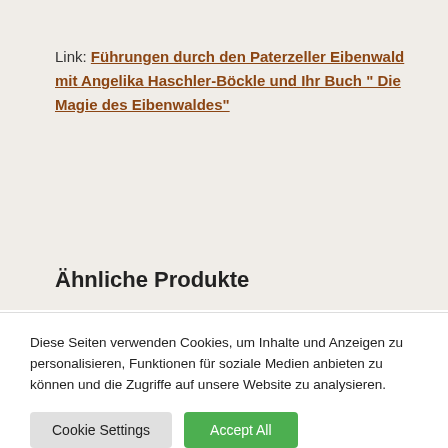Link: Führungen durch den Paterzeller Eibenwald mit Angelika Haschler-Böckle und Ihr Buch " Die Magie des Eibenwaldes"
Ähnliche Produkte
Diese Seiten verwenden Cookies, um Inhalte und Anzeigen zu personalisieren, Funktionen für soziale Medien anbieten zu können und die Zugriffe auf unsere Website zu analysieren.